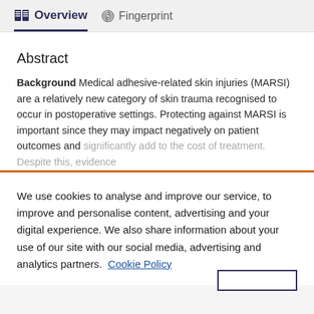Overview   Fingerprint
Abstract
Background Medical adhesive-related skin injuries (MARSI) are a relatively new category of skin trauma recognised to occur in postoperative settings. Protecting against MARSI is important since they may impact negatively on patient outcomes and significantly add to the cost of treatment. Despite this, evidence
We use cookies to analyse and improve our service, to improve and personalise content, advertising and your digital experience. We also share information about your use of our site with our social media, advertising and analytics partners.  Cookie Policy